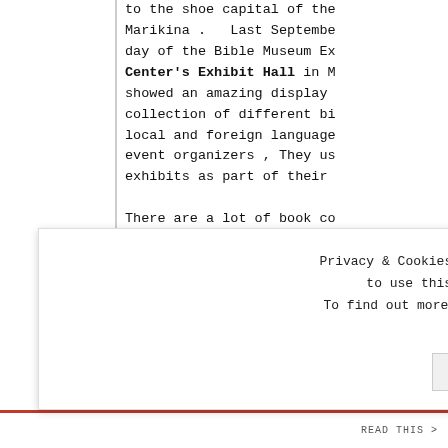to the shoe capital of the Marikina .   Last September day of the Bible Museum Exhibit Center's Exhibit Hall in M showed an amazing display collection of different bi local and foreign language event organizers , They us exhibits as part of their

There are a lot of book co the country which focuses collection. Bible is the w most sold item among books around the world are being day !
[Figure (photo): Partial photo visible in bottom right corner of main content area, appears to show a person]
Privacy & Cookies: This site uses cookies. By continuing to use this website, you agree to their use. To find out more, including how to control cookies, see here: Cookie Policy
Close and accept